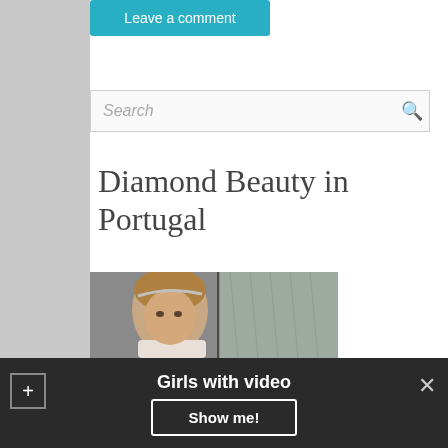Leave a comment
Search
Diamond Beauty in Portugal
[Figure (photo): Young woman with blonde hair wearing a headband, dressed in white, posing against a gray backdrop]
Girls with video
Show me!